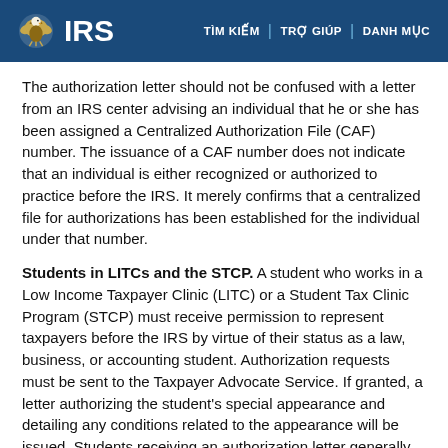IRS | TÌM KIẾM | TRỢ GIÚP | DANH MỤC
The authorization letter should not be confused with a letter from an IRS center advising an individual that he or she has been assigned a Centralized Authorization File (CAF) number. The issuance of a CAF number does not indicate that an individual is either recognized or authorized to practice before the IRS. It merely confirms that a centralized file for authorizations has been established for the individual under that number.
Students in LITCs and the STCP. A student who works in a Low Income Taxpayer Clinic (LITC) or a Student Tax Clinic Program (STCP) must receive permission to represent taxpayers before the IRS by virtue of their status as a law, business, or accounting student. Authorization requests must be sent to the Taxpayer Advocate Service. If granted, a letter authorizing the student's special appearance and detailing any conditions related to the appearance will be issued. Students receiving an authorization letter generally can represent taxpayers before any IRS function or office